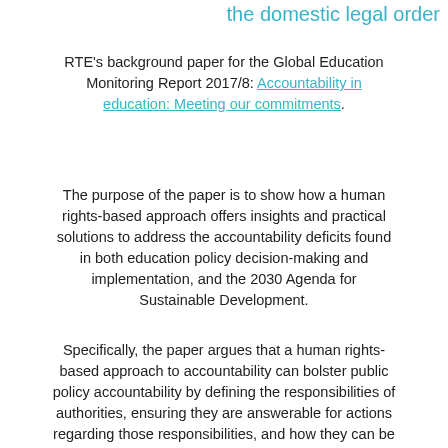the domestic legal order
RTE's background paper for the Global Education Monitoring Report 2017/8: Accountability in education: Meeting our commitments.
The purpose of the paper is to show how a human rights-based approach offers insights and practical solutions to address the accountability deficits found in both education policy decision-making and implementation, and the 2030 Agenda for Sustainable Development.
Specifically, the paper argues that a human rights-based approach to accountability can bolster public policy accountability by defining the responsibilities of authorities, ensuring they are answerable for actions regarding those responsibilities, and how they can be subject to forms of enforceable sanctions or remedies...